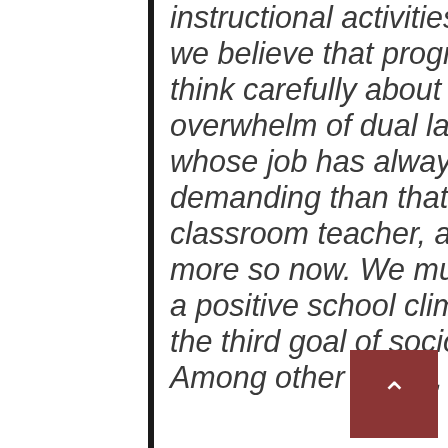instructional activities during the pandemic, we believe that program leaders need to think carefully about the potential overwhelm of dual language teachers, whose job has always been more demanding than that of a general education classroom teacher, and is likely to be even more so now. We must focus on promoting a positive school climate by leading with the third goal of sociocultural competence. Among other things, this could include: